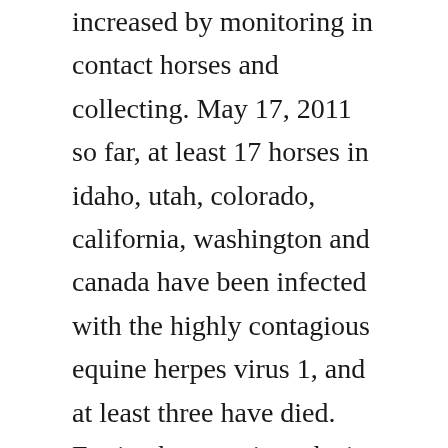increased by monitoring in contact horses and collecting. May 17, 2011 so far, at least 17 horses in idaho, utah, colorado, california, washington and canada have been infected with the highly contagious equine herpes virus 1, and at least three have died. Equine herpes virus ehv1 information sheet march 16, 2016 ehv1 what is it. Fortunately, this virus is very speciesspecific, meaning that humans do not catch equine herpes virus, and vise versa. The thoroughbred meet at meadowlands that ended nov. Equine herpesvirus california department of food and. Often, people are